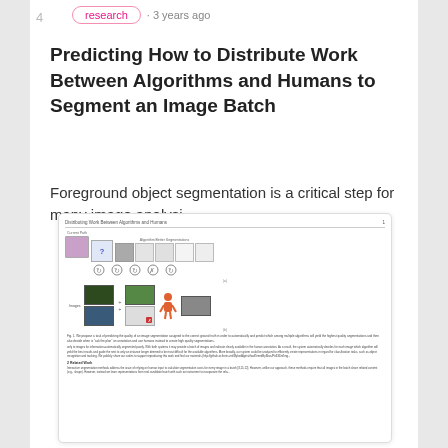4
research · 3 years ago
Predicting How to Distribute Work Between Algorithms and Humans to Segment an Image Batch
Foreground object segmentation is a critical step for many image analysi...
[Figure (screenshot): Thumbnail/preview of the referenced research paper showing figures of image segmentation workflow and body text]